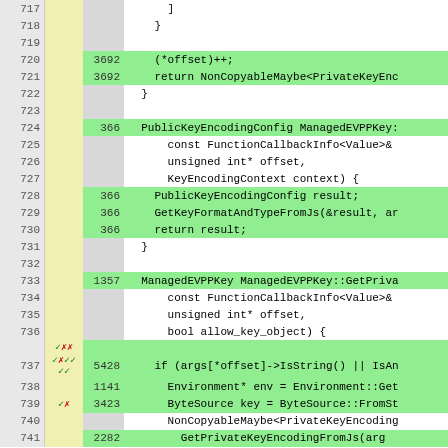[Figure (screenshot): Code coverage diff view showing C++ source lines 717-741 with line numbers, annotation markers (checkmarks and X marks), hit counts, and syntax-highlighted code. Green highlighted rows indicate covered lines.]